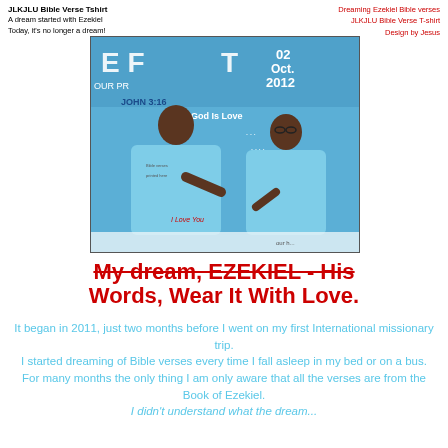JLKJLU Bible Verse Tshirt | A dream started with Ezekiel Today, it's no longer a dream! | Dreaming Ezekiel Bible verses JLKJLU Bible Verse T-shirt Design by Jesus
[Figure (photo): Two people wearing light blue t-shirts with Bible verses printed on them, standing in front of a banner that reads JOHN 3:16, God is Love, 02 Oct. 2012]
My dream, EZEKIEL - His Words, Wear It With Love.
It began in 2011, just two months before I went on my first International missionary trip. I started dreaming of Bible verses every time I fall asleep in my bed or on a bus. For many months the only thing I am only aware that all the verses are from the Book of Ezekiel. I didn't understand what the dream...